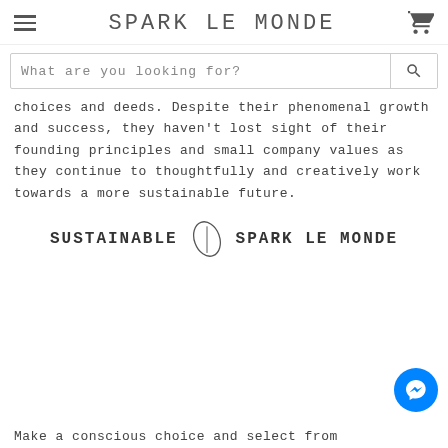SPARK LE MONDE
What are you looking for?
choices and deeds. Despite their phenomenal growth and success, they haven't lost sight of their founding principles and small company values as they continue to thoughtfully and creatively work towards a more sustainable future.
[Figure (logo): SUSTAINABLE leaf-icon SPARK LE MONDE logo banner]
Make a conscious choice and select from